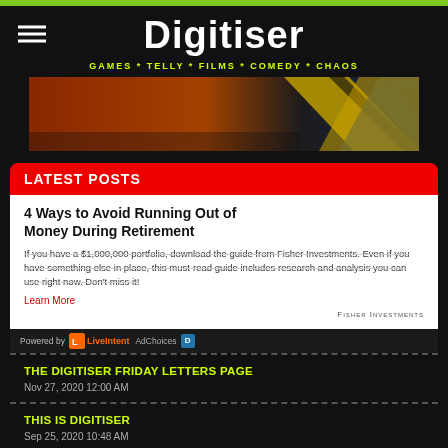Digitiser — GAMES * TELLY * FILMS * COMEDY * CHAOS
[Figure (photo): Grunge banner image with orange, black and yellow diagonal stripes, worn texture]
LATEST POSTS
[Figure (infographic): Advertisement card: 4 Ways to Avoid Running Out of Money During Retirement - Fisher Investments. Powered by LiveIntent AdChoices.]
THE DIGITISER FRIDAY LETTERS PAGE
Nov 27, 2020 12:00 AM
THIS IS DIGITISER
Sep 25, 2020 10:48 AM
REVIEW: MARVEL'S AVENGERS (PS4 version tested)
Sep 5, 2020 9:32 AM